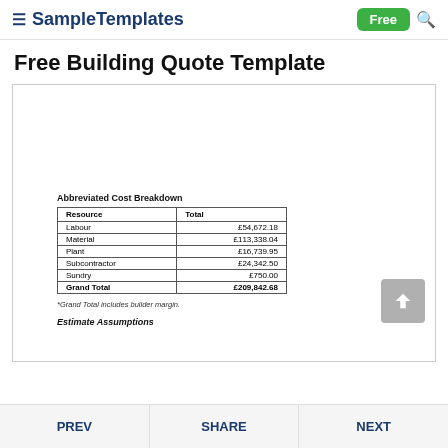SampleTemplates — Free
Free Building Quote Template
Abbreviated Cost Breakdown
| Resource | Total |
| --- | --- |
| Labour | £54,672.18 |
| Material | £113,338.04 |
| Plant | £16,739.95 |
| Subcontractor | £24,342.50 |
| Sundry | £750.00 |
| Grand Total | £209,842.68 |
*Grand Total includes builder margin.
Estimate Assumptions
PREV   SHARE   NEXT